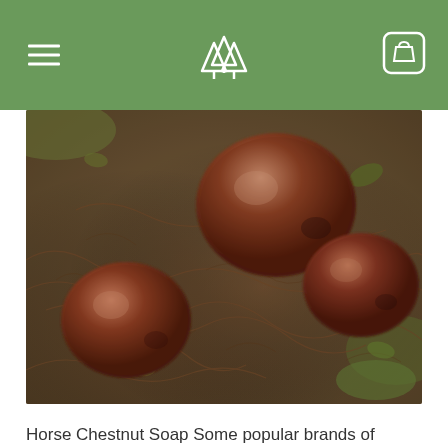≡  △△△  🛍
[Figure (photo): Close-up photo of several shiny brown horse chestnuts (conkers) lying on the ground among fibrous roots, dried leaves, and grass. The chestnuts have a deep reddish-brown color with a glossy surface.]
Horse Chestnut Soap Some popular brands of laundry detergent have been found to contain more than 25 toxic